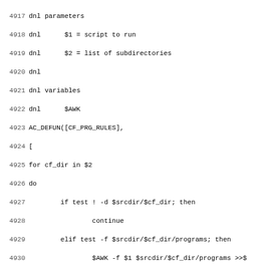Code listing lines 4917-4948, shell/autoconf script source code with line numbers
4917 dnl parameters
4918 dnl      $1 = script to run
4919 dnl      $2 = list of subdirectories
4920 dnl
4921 dnl variables
4922 dnl      $AWK
4923 AC_DEFUN([CF_PRG_RULES],
4924 [
4925 for cf_dir in $2
4926 do
4927         if test ! -d $srcdir/$cf_dir; then
4928                 continue
4929         elif test -f $srcdir/$cf_dir/programs; then
4930                 $AWK -f $1 $srcdir/$cf_dir/programs >>$
4931         fi
4932 done
4933
4934 ])dnl
4935 dnl ---...
4936 dnl CF_PROG_AR version: 1 updated: 2009/01/01 20:15:22
4937 dnl ----------
4938 dnl Check for archiver "ar".
4939 AC_DEFUN([CF_PROG_AR],[
4940 AC_CHECK_TOOL(AR, ar, ar)
4941 ])
4942 dnl ---...
4943 dnl CF_PROG_AWK version: 1 updated: 2006/09/16 11:40:59
4944 dnl ----------
4945 dnl Check for awk, ensure that the check found somethin
4946 AC_DEFUN([CF_PROG_AWK],
4947 [
4948 AC_PROG_AWK